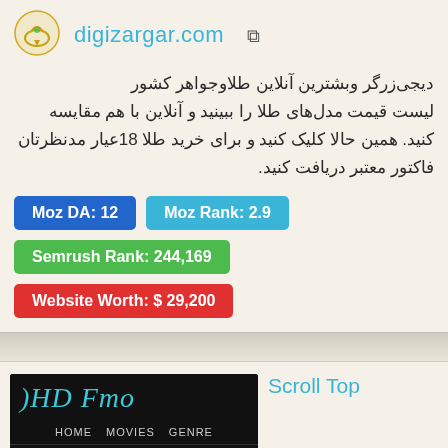[Figure (logo): digizargar.com logo icon - circular gold/green jewelry icon]
digizargar.com
دیجی‌زرگر وبشترین آنلاین طلاوجواهر کشور لیست قیمت مدل‌های طلا را ببینید و آنلاین با هم مقایسه کنید. همین حالا کلیک کنید و برای خرید طلا 18عیار مدنظرتان فاکتور معتبر دریافت کنید.
Moz DA: 12
Moz Rank: 2.9
Semrush Rank: 244,169
Website Worth: $ 29,200
Scroll Top
[Figure (screenshot): HD Fmo website screenshot showing navigation menu with HOME, MOVIES, GENRE, TV-SERIES, MOST WATCHED, ACTORS, COUNTRY]